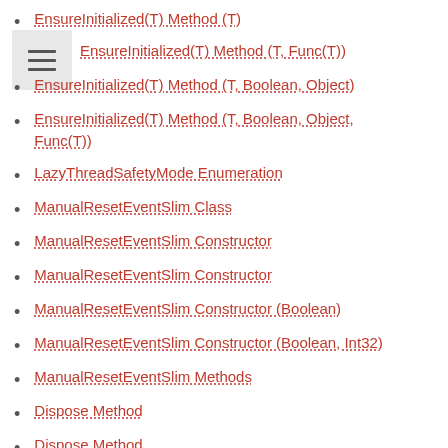EnsureInitialized(T) Method (T)
EnsureInitialized(T) Method (T, Func(T))
EnsureInitialized(T) Method (T, Boolean, Object)
EnsureInitialized(T) Method (T, Boolean, Object, Func(T))
LazyThreadSafetyMode Enumeration
ManualResetEventSlim Class
ManualResetEventSlim Constructor
ManualResetEventSlim Constructor
ManualResetEventSlim Constructor (Boolean)
ManualResetEventSlim Constructor (Boolean, Int32)
ManualResetEventSlim Methods
Dispose Method
Dispose Method
Dispose Method (Boolean)
Reset Method